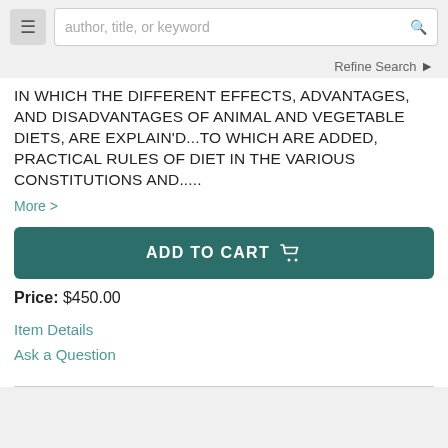author, title, or keyword [search bar with menu and search icon]
Refine Search ❯
IN WHICH THE DIFFERENT EFFECTS, ADVANTAGES, AND DISADVANTAGES OF ANIMAL AND VEGETABLE DIETS, ARE EXPLAIN'D...TO WHICH ARE ADDED, PRACTICAL RULES OF DIET IN THE VARIOUS CONSTITUTIONS AND.....
More >
ADD TO CART
Price: $450.00
Item Details
Ask a Question